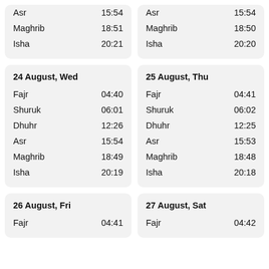| Prayer | Time |
| --- | --- |
| Asr | 15:54 |
| Maghrib | 18:51 |
| Isha | 20:21 |
| Prayer | Time |
| --- | --- |
| Asr | 15:54 |
| Maghrib | 18:50 |
| Isha | 20:20 |
| Date | Prayer | Time |
| --- | --- | --- |
| 24 August, Wed |  |  |
| Fajr | 04:40 |  |
| Shuruk | 06:01 |  |
| Dhuhr | 12:26 |  |
| Asr | 15:54 |  |
| Maghrib | 18:49 |  |
| Isha | 20:19 |  |
| Date | Prayer | Time |
| --- | --- | --- |
| 25 August, Thu |  |  |
| Fajr | 04:41 |  |
| Shuruk | 06:02 |  |
| Dhuhr | 12:25 |  |
| Asr | 15:53 |  |
| Maghrib | 18:48 |  |
| Isha | 20:18 |  |
| Date | Prayer | Time |
| --- | --- | --- |
| 26 August, Fri |  |  |
| Fajr | 04:41 |  |
| Date | Prayer | Time |
| --- | --- | --- |
| 27 August, Sat |  |  |
| Fajr | 04:42 |  |